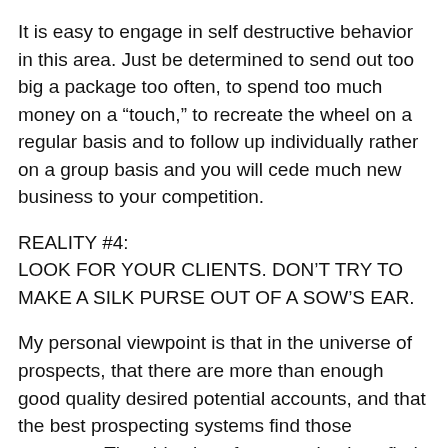It is easy to engage in self destructive behavior in this area. Just be determined to send out too big a package too often, to spend too much money on a “touch,” to recreate the wheel on a regular basis and to follow up individually rather on a group basis and you will cede much new business to your competition.
REALITY #4:
LOOK FOR YOUR CLIENTS. DON’T TRY TO MAKE A SILK PURSE OUT OF A SOW’S EAR.
My personal viewpoint is that in the universe of prospects, that there are more than enough good quality desired potential accounts, and that the best prospecting systems find those accounts. The objective of prospecting is to find those accounts with a process that is systematic, economic and effective.
The next the self...